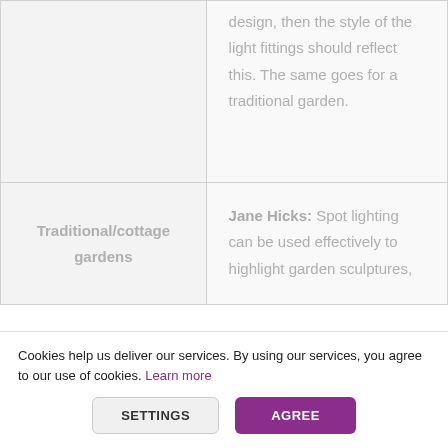|  | design, then the style of the light fittings should reflect this. The same goes for a traditional garden. |
| Traditional/cottage gardens | Jane Hicks: Spot lighting can be used effectively to highlight garden sculptures, |
Cookies help us deliver our services. By using our services, you agree to our use of cookies. Learn more